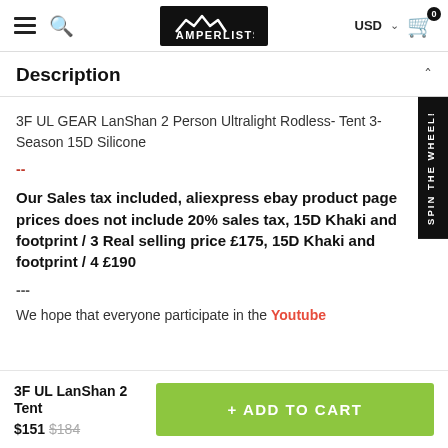CAMPERLISTS — USD — Cart (0)
Description
3F UL GEAR LanShan 2 Person Ultralight Rodless- Tent 3-Season 15D Silicone
-- Our Sales tax included, aliexpress ebay product page prices does not include 20% sales tax, 15D Khaki and footprint / 3 Real selling price £175, 15D Khaki and footprint / 4 £190 --- We hope that everyone participate in the Youtube
3F UL LanShan 2 Tent $151 $184
+ ADD TO CART